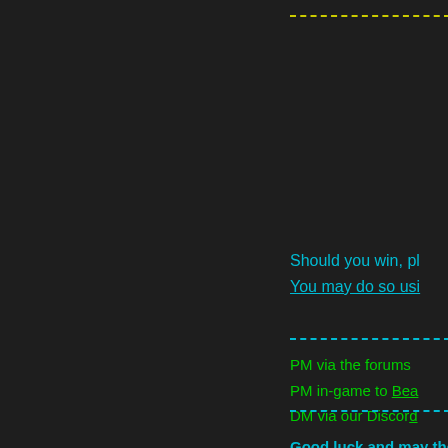Should you win, pl... You may do so usi...
PM via the forums
PM in-game to Bea...
DM via our Discord...
Good luck and may the b...
Last edited by Bear on Tue Apr 0...
[Figure (screenshot): User badge showing ladybird2: 0v0 uwu with icon]